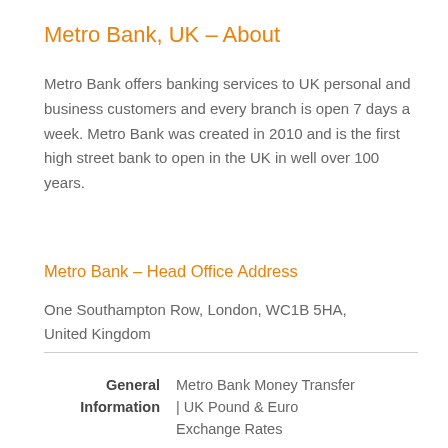Metro Bank, UK – About
Metro Bank offers banking services to UK personal and business customers and every branch is open 7 days a week. Metro Bank was created in 2010 and is the first high street bank to open in the UK in well over 100 years.
Metro Bank – Head Office Address
One Southampton Row, London, WC1B 5HA, United Kingdom
|  |  |
| --- | --- |
| General | Metro Bank Money Transfer |
| Information | | UK Pound & Euro |
|  | Exchange Rates |